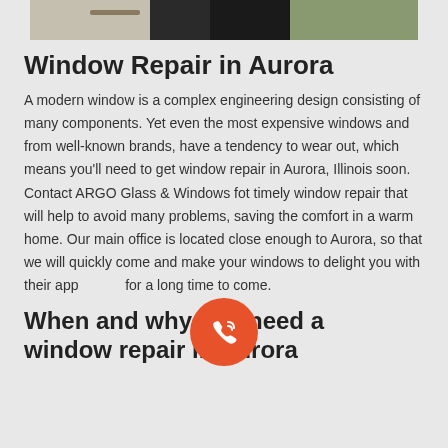[Figure (photo): Partial photo of person working outdoors with equipment on a wooden frame, cropped at the top]
Window Repair in Aurora
A modern window is a complex engineering design consisting of many components. Yet even the most expensive windows and from well-known brands, have a tendency to wear out, which means you'll need to get window repair in Aurora, Illinois soon. Contact ARGO Glass & Windows fot timely window repair that will help to avoid many problems, saving the comfort in a warm home. Our main office is located close enough to Aurora, so that we will quickly come and make your windows to delight you with their appearance for a long time to come.
[Figure (illustration): Orange circular phone/call button with phone waves icon]
When and why do I need a window repair in Aurora